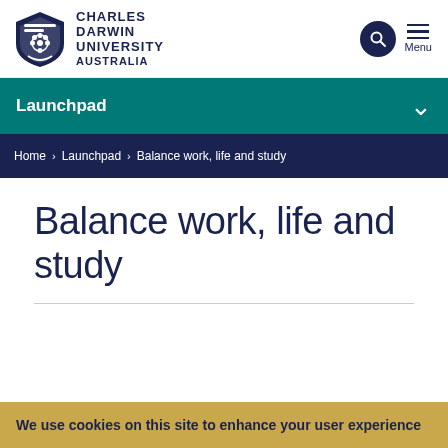[Figure (logo): Charles Darwin University Australia logo with shield emblem]
Charles Darwin University Australia — with search and Menu icons
Launchpad
Home > Launchpad > Balance work, life and study
Balance work, life and study
We use cookies on this site to enhance your user experience